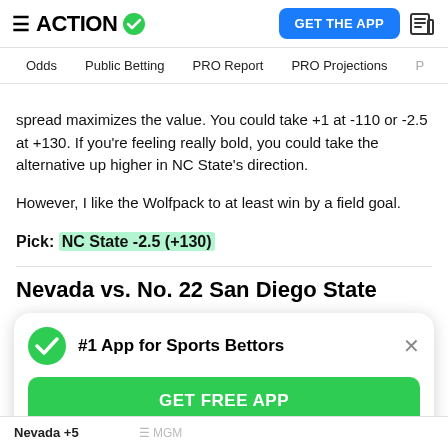ACTION (logo with checkmark) | GET THE APP | news icon
Odds | Public Betting | PRO Report | PRO Projections | P...
spread maximizes the value. You could take +1 at -110 or -2.5 at +130. If you’re feeling really bold, you could take the alternative up higher in NC State’s direction.
However, I like the Wolfpack to at least win by a field goal.
Pick: NC State -2.5 (+130)
Nevada vs. No. 22 San Diego State
[Figure (screenshot): Modal popup: #1 App for Sports Bettors with green checkmark icon, close button (x), and GET FREE APP green button]
Nevada +5